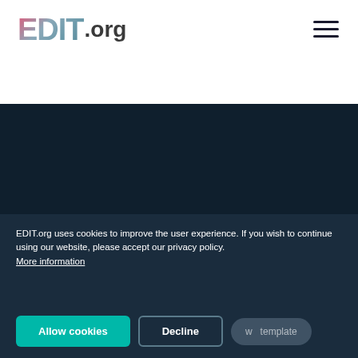EDIT.org
[Figure (logo): EDIT.org logo in gradient pink-to-teal colors in the top white header area]
Terms / Legal
Help
EDIT.org uses cookies to improve the user experience. If you wish to continue using our website, please accept our privacy policy. More information
Allow cookies
Decline